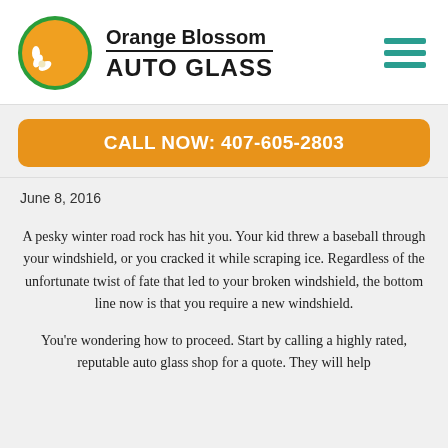[Figure (logo): Orange Blossom Auto Glass logo: circular orange logo with white blossom and green border, next to brand name text]
Orange Blossom AUTO GLASS
CALL NOW: 407-605-2803
June 8, 2016
A pesky winter road rock has hit you. Your kid threw a baseball through your windshield, or you cracked it while scraping ice. Regardless of the unfortunate twist of fate that led to your broken windshield, the bottom line now is that you require a new windshield.
You're wondering how to proceed. Start by calling a highly rated, reputable auto glass shop for a quote. They will help